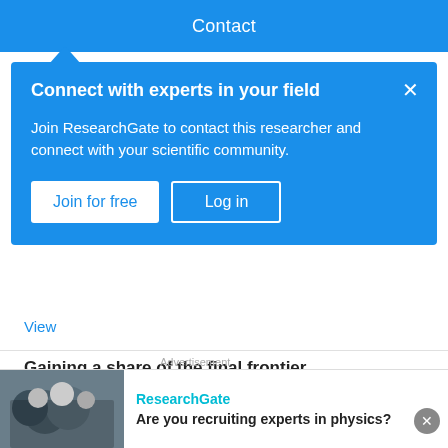Contact
Connect with experts in your field
Join ResearchGate to contact this researcher and connect with your scientific community.
Join for free   Log in
View
Gaining a share of the final frontier
Article   Full-text available
Jan 1999
Alan Marshall
According to international agreement between the space faring
Advertisement
ResearchGate
Are you recruiting experts in physics?